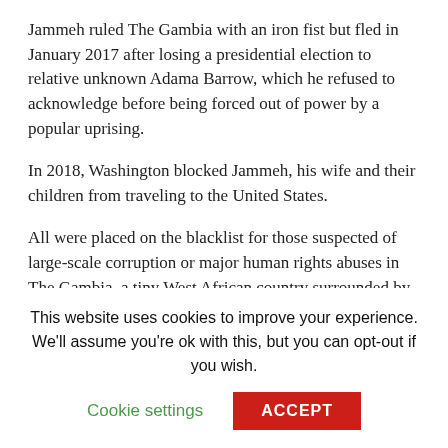Jammeh ruled The Gambia with an iron fist but fled in January 2017 after losing a presidential election to relative unknown Adama Barrow, which he refused to acknowledge before being forced out of power by a popular uprising.
In 2018, Washington blocked Jammeh, his wife and their children from traveling to the United States.
All were placed on the blacklist for those suspected of large-scale corruption or major human rights abuses in The Gambia, a tiny West African country surrounded by Senegal. AFP
This website uses cookies to improve your experience. We'll assume you're ok with this, but you can opt-out if you wish.
Cookie settings | ACCEPT